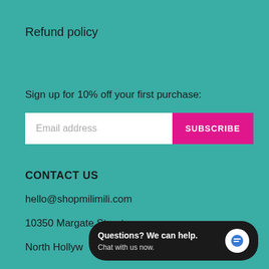Refund policy
Sign up for 10% off your first purchase:
[Figure (screenshot): Email subscription form with white email address input field and magenta SUBSCRIBE button]
CONTACT US
hello@shopmilimili.com
10350 Margate Street
North Hollywood
[Figure (screenshot): Dark rounded chat widget overlay: 'Questions? We can help. Chat with us now.' with blue chat bubble icon]